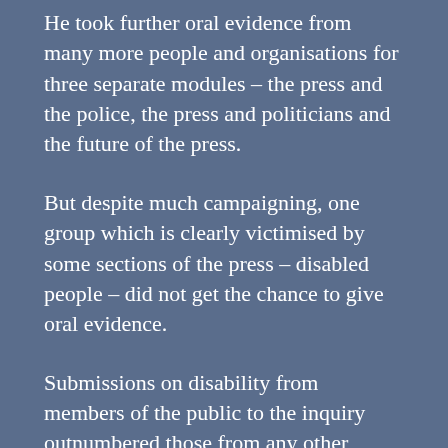He took further oral evidence from many more people and organisations for three separate modules – the press and the police, the press and politicians and the future of the press.
But despite much campaigning, one group which is clearly victimised by some sections of the press – disabled people – did not get the chance to give oral evidence.
Submissions on disability from members of the public to the inquiry outnumbered those from any other equality strand, such as transgender, migrants and refugees, (except that of women). Four women's groups, one transgender group